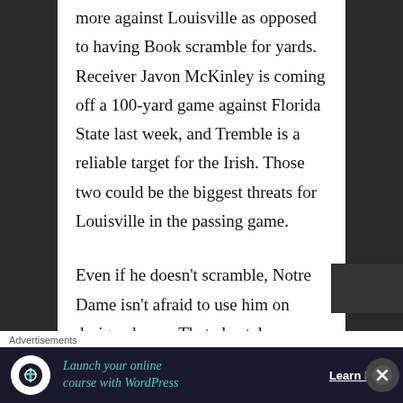more against Louisville as opposed to having Book scramble for yards. Receiver Javon McKinley is coming off a 100-yard game against Florida State last week, and Tremble is a reliable target for the Irish. Those two could be the biggest threats for Louisville in the passing game.
Even if he doesn't scramble, Notre Dame isn't afraid to use him on designed runs. That also takes some
Advertisements
[Figure (other): Advertisement banner: Launch your online course with WordPress — Learn More]